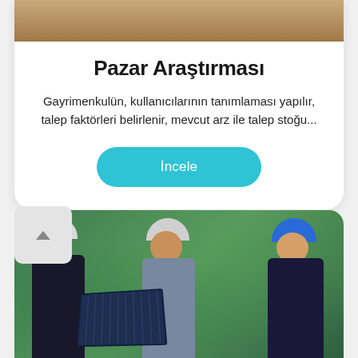[Figure (photo): Top portion of a wooden/material textured image, partially visible at the top of the card]
Pazar Araştırması
Gayrimenkulün, kullanıcılarının tanımlaması yapılır, talep faktörleri belirlenir, mevcut arz ile talep stoğu...
İncele
[Figure (photo): Three people wearing hard hats (two white, one blue) discussing over a solar panel outdoors with green foliage in background]